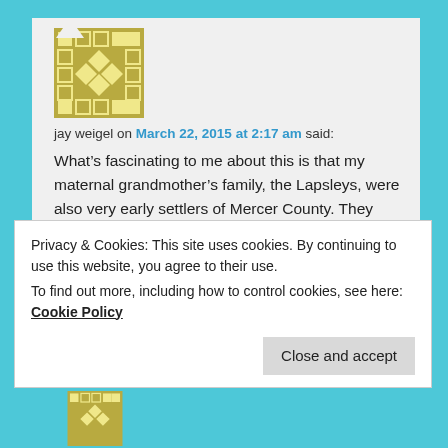[Figure (illustration): Olive/gold colored decorative tile avatar with diamond and square geometric pattern]
jay weigel on March 22, 2015 at 2:17 am said:
What’s fascinating to me about this is that my maternal grandmother’s family, the Lapsleys, were also very early settlers of Mercer County. They lived in McAfee and were a prominent family in the area. I don’t think we’re related to the Harmons, but since the Lapsleys have been there about as long, who knows? It’s a small world, after all.
Loading...
Privacy & Cookies: This site uses cookies. By continuing to use this website, you agree to their use.
To find out more, including how to control cookies, see here: Cookie Policy